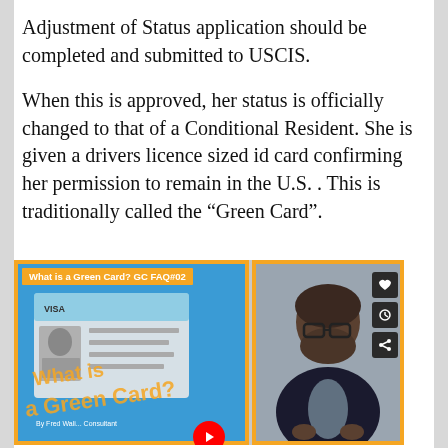Adjustment of Status application should be completed and submitted to USCIS.
When this is approved, her status is officially changed to that of a Conditional Resident. She is given a drivers licence sized id card confirming her permission to remain in the U.S. . This is traditionally called the “Green Card”.
[Figure (screenshot): YouTube video thumbnail: 'What is a Green Card? GC FAQ#02' showing a green card image on the left panel with blue background and orange border, and a person speaking on the right panel with orange border. Social media icons (heart, clock, share) visible on far right.]